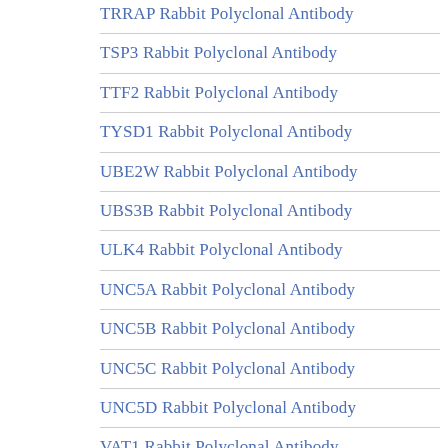TRRAP Rabbit Polyclonal Antibody
TSP3 Rabbit Polyclonal Antibody
TTF2 Rabbit Polyclonal Antibody
TYSD1 Rabbit Polyclonal Antibody
UBE2W Rabbit Polyclonal Antibody
UBS3B Rabbit Polyclonal Antibody
ULK4 Rabbit Polyclonal Antibody
UNC5A Rabbit Polyclonal Antibody
UNC5B Rabbit Polyclonal Antibody
UNC5C Rabbit Polyclonal Antibody
UNC5D Rabbit Polyclonal Antibody
VAT1 Rabbit Polyclonal Antibody
VGLL2 Rabbit Polyclonal Antibody